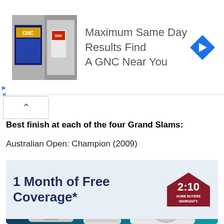[Figure (screenshot): GNC advertisement banner showing store photo, text 'Maximum Same Day Results Find A GNC Near You' and a blue navigation arrow icon]
[Figure (screenshot): Collapse/accordion button with upward chevron]
Best finish at each of the four Grand Slams:
Australian Open: Champion (2009)
[Figure (screenshot): 2-10 Home Buyers Warranty advertisement showing '1 Month of Free Coverage*' with appliance imagery including washer, refrigerator, and HVAC unit]